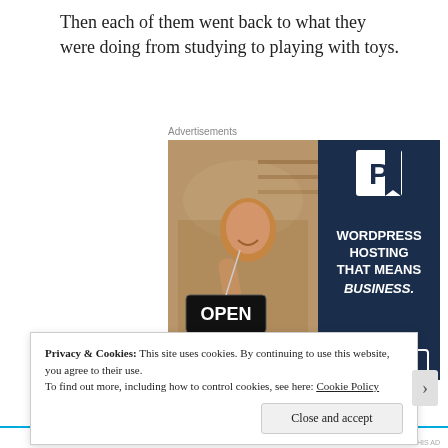Then each of them went back to what they were doing from studying to playing with toys.
Advertisements
[Figure (photo): Advertisement banner: left half shows a woman holding an OPEN sign in a store window, right half is dark navy blue with a white P logo and text 'WORDPRESS HOSTING THAT MEANS BUSINESS.' and a 'LEARN MORE' button.]
Privacy & Cookies: This site uses cookies. By continuing to use this website, you agree to their use.
To find out more, including how to control cookies, see here: Cookie Policy
Close and accept